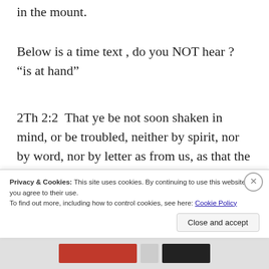in the mount.
Below is a time text , do you NOT hear ? “is at hand”
2Th 2:2  That ye be not soon shaken in mind, or be troubled, neither by spirit, nor by word, nor by letter as from us, as that the day of Christ is at hand.
When below was written , the 2nd temple was still standing . The temple of Goid Paul was talking about was clearly
Privacy & Cookies: This site uses cookies. By continuing to use this website, you agree to their use.
To find out more, including how to control cookies, see here: Cookie Policy
Close and accept